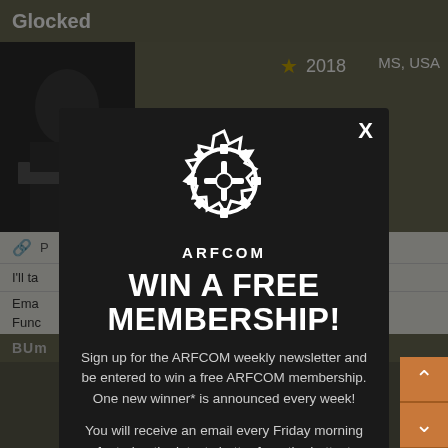Glocked
2018   MS, USA
I'll ta
Ema
Func
BUm
[Figure (screenshot): ARFCOM popup modal on dark background with logo, headline 'WIN A FREE MEMBERSHIP!', and descriptive text about newsletter sign-up]
WIN A FREE MEMBERSHIP!
Sign up for the ARFCOM weekly newsletter and be entered to win a free ARFCOM membership. One new winner* is announced every week!
You will receive an email every Friday morning featuring the latest chatter from the hottest topics, breaking news surrounding legislation, as well as exclusive deals only available to ARFCOM email subscribers.
A, USA
P
O
I'l